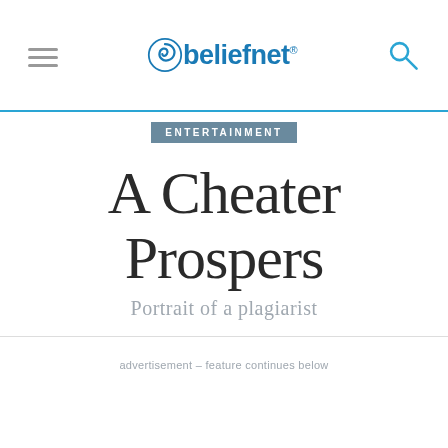beliefnet
ENTERTAINMENT
A Cheater Prospers
Portrait of a plagiarist
advertisement – feature continues below